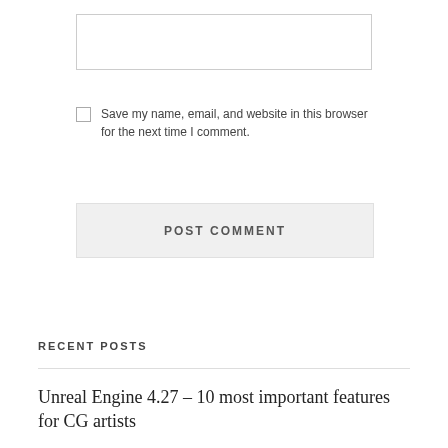[Figure (other): Empty text input box (comment form field)]
Save my name, email, and website in this browser for the next time I comment.
[Figure (other): POST COMMENT button]
RECENT POSTS
Unreal Engine 4.27 – 10 most important features for CG artists